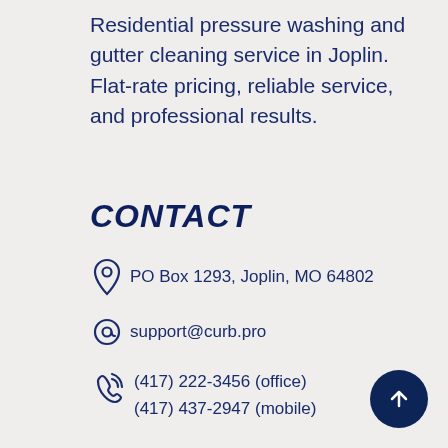Residential pressure washing and gutter cleaning service in Joplin. Flat-rate pricing, reliable service, and professional results.
CONTACT
PO Box 1293, Joplin, MO 64802
support@curb.pro
(417) 222-3456 (office)
(417) 437-2947 (mobile)